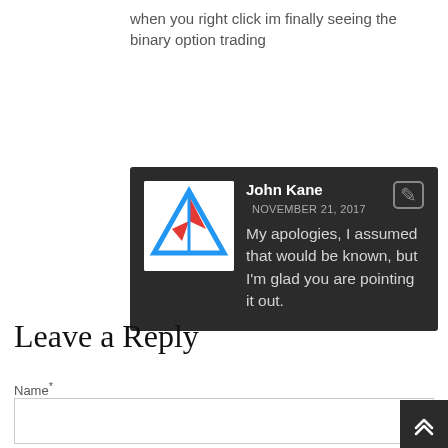when you right click im finally seeing the binary option trading
[Figure (screenshot): Comment by John Kane dated November 21, 2017, with avatar logo (triangular arrow design in red and blue), and text: My apologies, I assumed that would be known, but I'm glad you are pointing it out. Dark background comment box.]
Leave a Reply
Name *